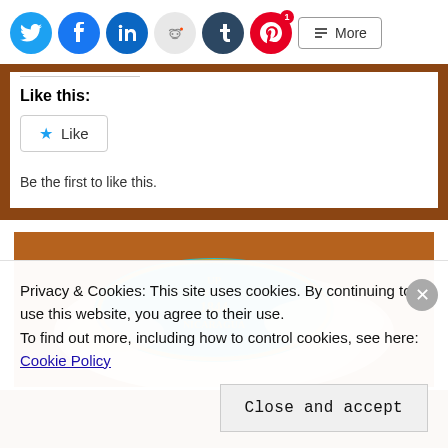[Figure (other): Social media sharing icons: Twitter (blue), Facebook (blue), LinkedIn (blue), Reddit (light gray), Tumblr (dark blue), Pinterest (red with badge '1'), and a More button]
Like this:
[Figure (other): Like button with star icon]
Be the first to like this.
[Figure (photo): Close-up photo of a hand holding a teal cigar band/label reading 'UP 1844 NICARAGUA' with gold text]
Privacy & Cookies: This site uses cookies. By continuing to use this website, you agree to their use.
To find out more, including how to control cookies, see here: Cookie Policy
Close and accept